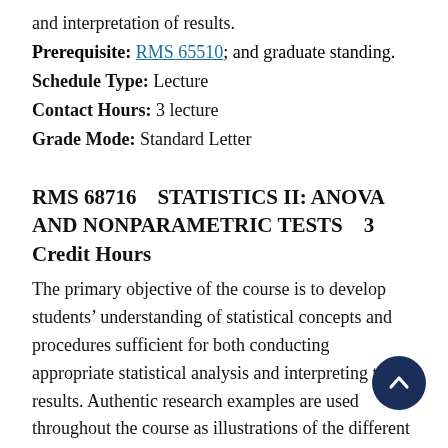and interpretation of results.
Prerequisite: RMS 65510; and graduate standing.
Schedule Type: Lecture
Contact Hours: 3 lecture
Grade Mode: Standard Letter
RMS 68716    STATISTICS II: ANOVA AND NONPARAMETRIC TESTS    3 Credit Hours
The primary objective of the course is to develop students' understanding of statistical concepts and procedures sufficient for both conducting appropriate statistical analysis and interpreting the results. Authentic research examples are used throughout the course as illustrations of the different methods of conducting statistical analyses for the social sciences. This course is designed to lead